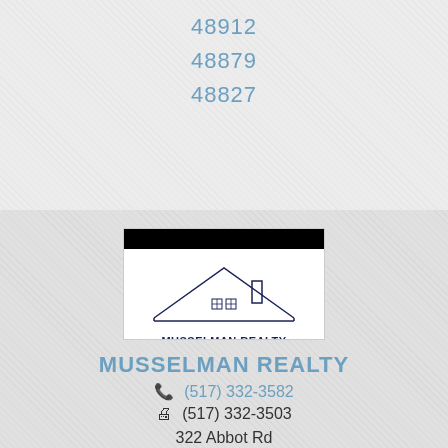48912
48879
48827
[Figure (logo): Musselman Realty logo showing a house roofline with chimney and the text 'MUSSELMAN REALTY' and tagline 'Service Beyond The Sale for over 100 years', framed by black bars at top and bottom.]
MUSSELMAN REALTY
(517) 332-3582
(517) 332-3503
322 Abbot Rd
East Lansing, MI 48823